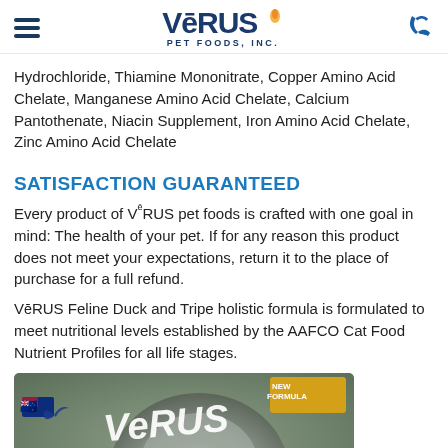VēRUS PET FOODS, INC.
Hydrochloride, Thiamine Mononitrate, Copper Amino Acid Chelate, Manganese Amino Acid Chelate, Calcium Pantothenate, Niacin Supplement, Iron Amino Acid Chelate, Zinc Amino Acid Chelate
SATISFACTION GUARANTEED
Every product of VēRUS pet foods is crafted with one goal in mind: The health of your pet. If for any reason this product does not meet your expectations, return it to the place of purchase for a full refund.
VēRUS Feline Duck and Tripe holistic formula is formulated to meet nutritional levels established by the AAFCO Cat Food Nutrient Profiles for all life stages.
[Figure (photo): VeRUS pet food product packaging showing a cat's face (Duck & Tripe Formula) with New Formula badge, GLM badge, and New Zealand flag icon]